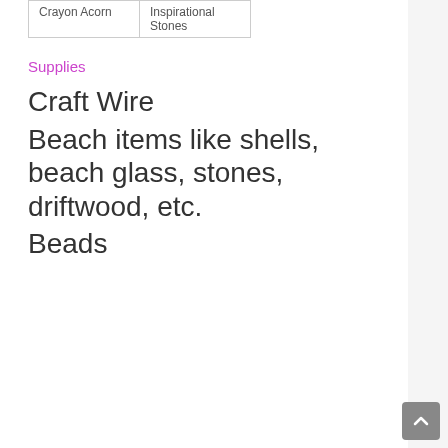| Crayon Acorn | Inspirational Stones |
Supplies
Craft Wire
Beach items like shells, beach glass, stones, driftwood, etc.
Beads